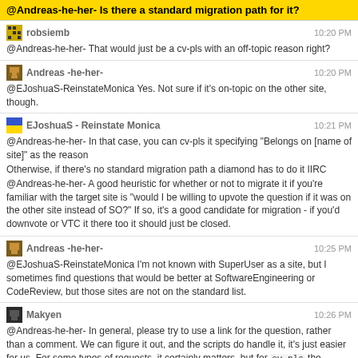@Andreas-he-her- Is there a standard migration path for it?
robsiemb 10:20 PM
@Andreas-he-her- That would just be a cv-pls with an off-topic reason right?
Andreas -he-her- 10:20 PM
@EJoshuaS-ReinstateMonica Yes. Not sure if it's on-topic on the other site, though.
EJoshuaS - Reinstate Monica 10:21 PM
@Andreas-he-her- In that case, you can cv-pls it specifying "Belongs on [name of site]" as the reason
Otherwise, if there's no standard migration path a diamond has to do it IIRC
@Andreas-he-her- A good heuristic for whether or not to migrate it if you're familiar with the target site is "would I be willing to upvote the question if it was on the other site instead of SO?" If so, it's a good candidate for migration - if you'd downvote or VTC it there too it should just be closed.
Andreas -he-her- 10:25 PM
@EJoshuaS-ReinstateMonica I'm not known with SuperUser as a site, but I sometimes find questions that would be better at SoftwareEngineering or CodeReview, but those sites are not on the standard list.
Makyen 10:26 PM
@Andreas-he-her- In general, please try to use a link for the question, rather than a comment. We can figure it out, and the scripts do handle it, it's just easier for us. For some types of requests, it certainly matters, but for cv-pls the request really can only refer to the question.
EJoshuaS - Reinstate Monica 10:26 PM
@Andreas-he-her- Yeah, IIRC there's not a standard migration path because people